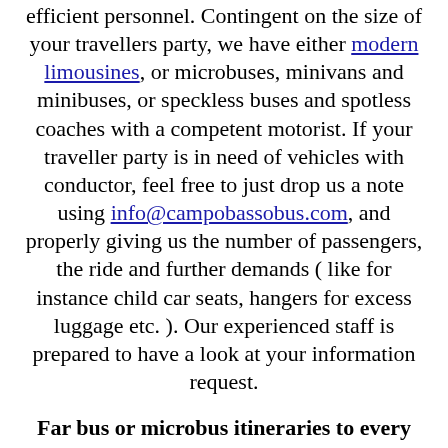efficient personnel. Contingent on the size of your travellers party, we have either modern limousines, or microbuses, minivans and minibuses, or speckless buses and spotless coaches with a competent motorist. If your traveller party is in need of vehicles with conductor, feel free to just drop us a note using info@campobassobus.com, and properly giving us the number of passengers, the ride and further demands ( like for instance child car seats, hangers for excess luggage etc. ). Our experienced staff is prepared to have a look at your information request.
Far bus or microbus itineraries to every country of Europe: The reputated travel company City Tours Europe mostly provides providing street vehicles of any build with an